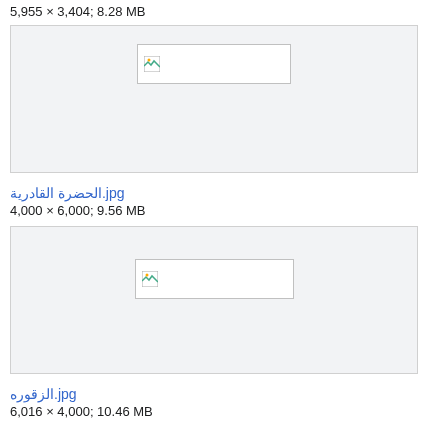5,955 × 3,404; 8.28 MB
[Figure (photo): Broken image placeholder thumbnail in a light gray box]
الحضرة القادرية.jpg
4,000 × 6,000; 9.56 MB
[Figure (photo): Broken image placeholder thumbnail in a light gray box]
الزقوره.jpg
6,016 × 4,000; 10.46 MB